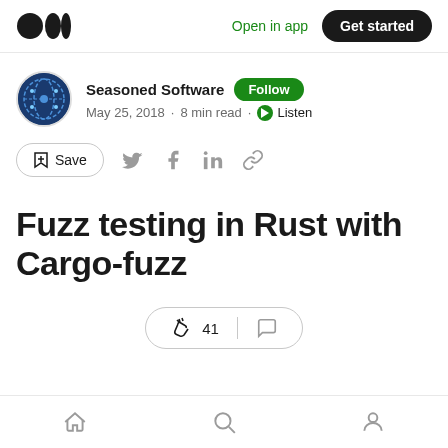Medium — Open in app · Get started
Seasoned Software · Follow · May 25, 2018 · 8 min read · Listen
Save
Fuzz testing in Rust with Cargo-fuzz
41 claps · comments
Home · Search · Profile